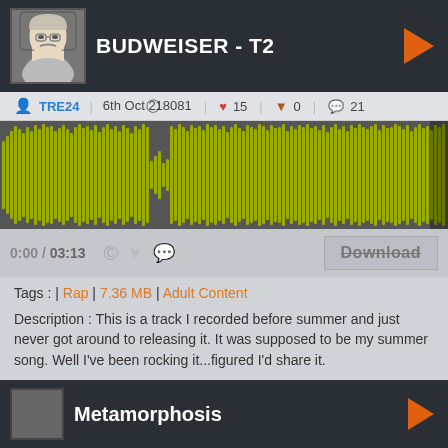BUDWEISER - T2
TRE24  6th Oct 2018081  15  0  21
[Figure (other): Audio waveform visualization showing olive/yellow-green waveform bars on dark gray background]
0:00 / 03:13  Download
Tags : | Rap | 7.36 MB | Adult Content
Description : This is a track I recorded before summer and just never got around to releasing it. It was supposed to be my summer song. Well I've been rocking it...figured I'd share it.

LOOPERMAN EXCLUSIVE
Track only on LM (for now)

Hope y'all dig it!
T2
Metamorphosis